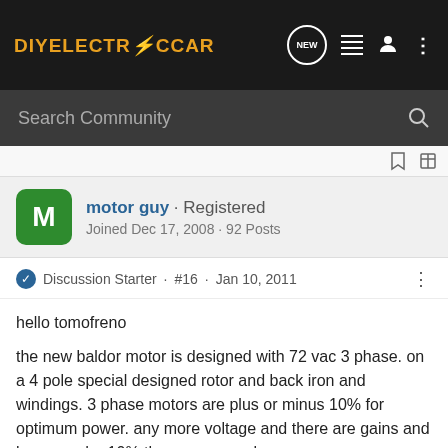DIYELECTRICCAR
Search Community
motor guy · Registered
Joined Dec 17, 2008 · 92 Posts
Discussion Starter · #16 · Jan 10, 2011
hello tomofreno
the new baldor motor is designed with 72 vac 3 phase. on a 4 pole special designed rotor and back iron and windings. 3 phase motors are plus or minus 10% for optimum power. any more voltage and there are gains and loses, under 10% there are more loses.
on the curtis controller 1238R 650 amp, the out put is a rated